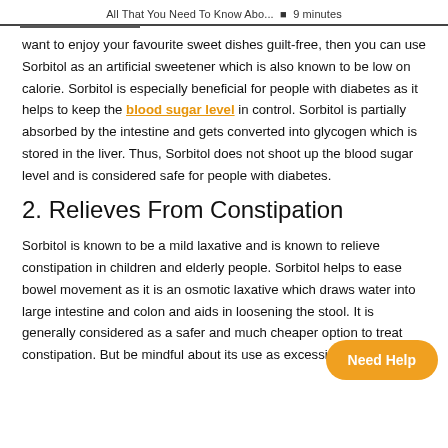All That You Need To Know Abo... ▪ 9 minutes
want to enjoy your favourite sweet dishes guilt-free, then you can use Sorbitol as an artificial sweetener which is also known to be low on calorie. Sorbitol is especially beneficial for people with diabetes as it helps to keep the blood sugar level in control. Sorbitol is partially absorbed by the intestine and gets converted into glycogen which is stored in the liver. Thus, Sorbitol does not shoot up the blood sugar level and is considered safe for people with diabetes.
2. Relieves From Constipation
Sorbitol is known to be a mild laxative and is known to relieve constipation in children and elderly people. Sorbitol helps to ease bowel movement as it is an osmotic laxative which draws water into large intestine and colon and aids in loosening the stool. It is generally considered as a safer and much cheaper option to treat constipation. But be mindful about its use as excessive use of